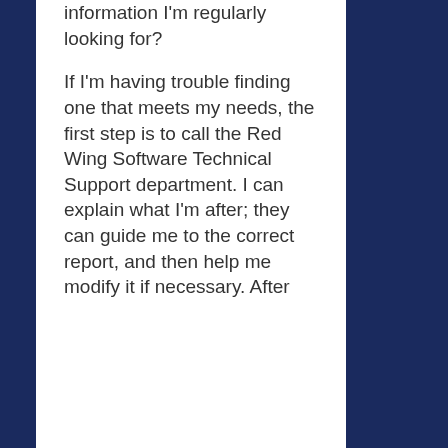information I'm regularly looking for?
If I'm having trouble finding one that meets my needs, the first step is to call the Red Wing Software Technical Support department. I can explain what I'm after; they can guide me to the correct report, and then help me modify it if necessary. After